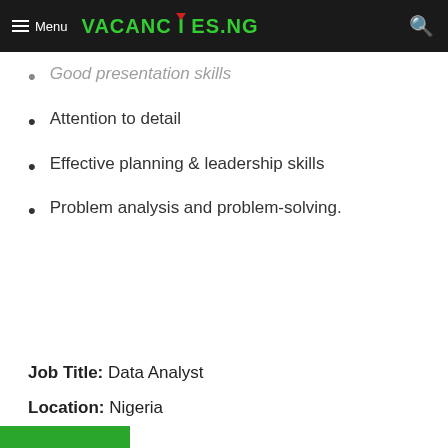Menu | VACANCIES.NG
Good presentation skills
Attention to detail
Effective planning & leadership skills
Problem analysis and problem-solving.
Job Title: Data Analyst
Location: Nigeria
Job Profile